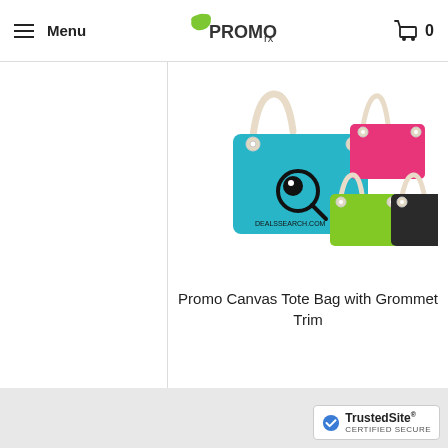Menu | PROMOrx | 0
[Figure (photo): Promo Canvas Tote Bag with Grommet Trim shown in teal (main, large), pink, green, and black color variants with rope handles and grommet hardware]
Promo Canvas Tote Bag with Grommet Trim
[Figure (logo): TrustedSite Certified Secure badge with checkmark icon]